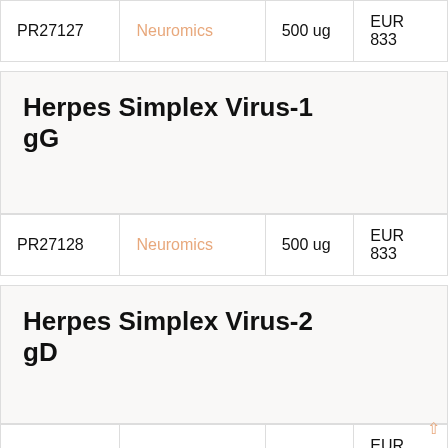| Code | Supplier | Quantity | Price |
| --- | --- | --- | --- |
| PR27127 | Neuromics | 500 ug | EUR 833 |
Herpes Simplex Virus-1 gG
| Code | Supplier | Quantity | Price |
| --- | --- | --- | --- |
| PR27128 | Neuromics | 500 ug | EUR 833 |
Herpes Simplex Virus-2 gD
| Code | Supplier | Quantity | Price |
| --- | --- | --- | --- |
| PR27129 | Neuromics | 500 ug | EUR 833 |